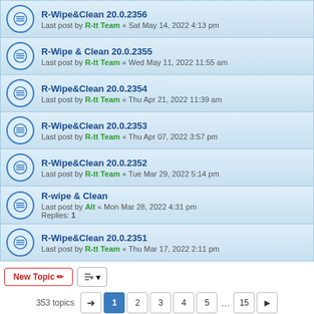R-Wipe&Clean 20.0.2356 — Last post by R-tt Team « Sat May 14, 2022 4:13 pm
R-Wipe & Clean 20.0.2355 — Last post by R-tt Team « Wed May 11, 2022 11:55 am
R-Wipe&Clean 20.0.2354 — Last post by R-tt Team « Thu Apr 21, 2022 11:39 am
R-Wipe&Clean 20.0.2353 — Last post by R-tt Team « Thu Apr 07, 2022 3:57 pm
R-Wipe&Clean 20.0.2352 — Last post by R-tt Team « Tue Mar 29, 2022 5:14 pm
R-wipe & Clean — Last post by Alt « Mon Mar 28, 2022 4:31 pm — Replies: 1
R-Wipe&Clean 20.0.2351 — Last post by R-tt Team « Thu Mar 17, 2022 2:11 pm
New Topic  |  sort button  |  353 topics  1 2 3 4 5 ... 15
Jump to
FORUM PERMISSIONS
You cannot post new topics in this forum